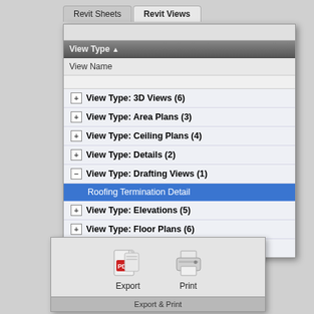[Figure (screenshot): Revit Views panel showing a tab strip with 'Revit Sheets' and 'Revit Views' tabs, a column header 'View Type' with sort arrow, a 'View Name' sub-header, and an expandable tree list of view types: 3D Views (6), Area Plans (3), Ceiling Plans (4), Details (2), Drafting Views (1) expanded with 'Roofing Termination Detail' selected in blue, Elevations (5), Floor Plans (6), Sections (8). Below is an Export & Print panel with Export (PDF icon) and Print (printer icon) buttons.]